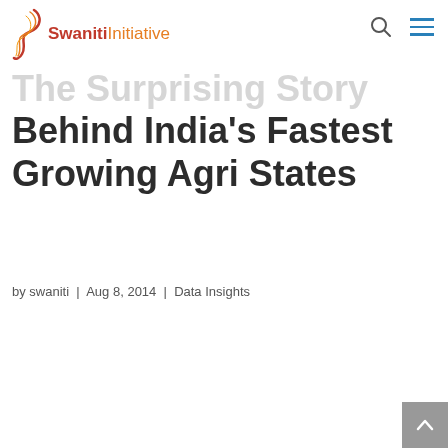Swaniti Initiative
The Surprising Story Behind India's Fastest Growing Agri States
by swaniti | Aug 8, 2014 | Data Insights